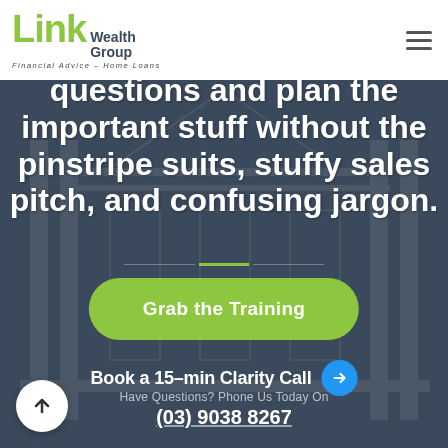[Figure (logo): Link Wealth Group logo with green 'Link' text and 'Wealth Group' in dark text, tagline 'Financial Advice - Home Loans']
questions and plan the important stuff without the pinstripe suits, stuffy sales pitch, and confusing jargon.
Grab the Training
Book a 15-min Clarity Call →
Have Questions? Phone Us Today On
(03) 9038 8267